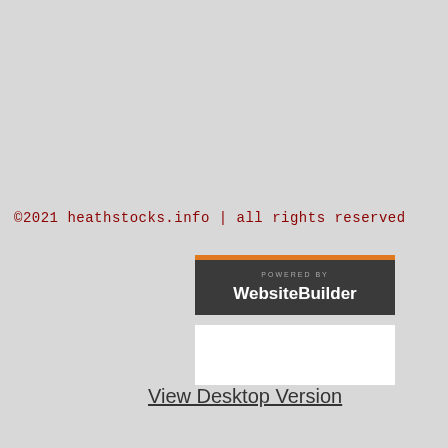©2021 heathstocks.info | all rights reserved
[Figure (logo): Powered by WebsiteBuilder badge with orange top border on dark background]
[Figure (other): White rectangle box below WebsiteBuilder badge]
View Desktop Version